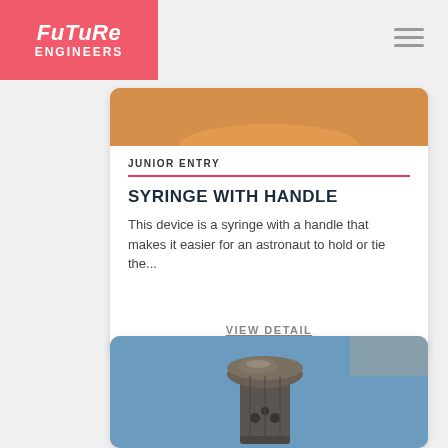Future Engineers
JUNIOR ENTRY
SYRINGE WITH HANDLE
This device is a syringe with a handle that makes it easier for an astronaut to hold or tie the...
VIEW DETAIL
[Figure (photo): 3D printed object that resembles a cylindrical tool with a rounded top cap and a body with small holes, photographed against a blue background]